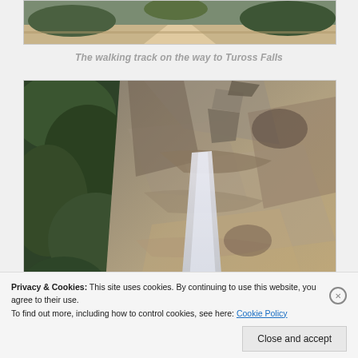[Figure (photo): Partial view of a walking track through bush/forest terrain — top portion cropped, showing dirt path and vegetation]
The walking track on the way to Tuross Falls
[Figure (photo): Tuross Falls waterfall cascading down a rocky sandstone cliff face, surrounded by green Australian bush vegetation]
Privacy & Cookies: This site uses cookies. By continuing to use this website, you agree to their use.
To find out more, including how to control cookies, see here: Cookie Policy
Close and accept